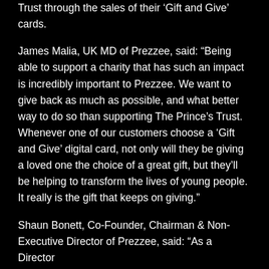Trust through the sales of their ‘Gift and Give’ cards.
James Malia, UK MD of Prezzee, said: “Being able to support a charity that has such an impact is incredibly important to Prezzee. We want to give back as much as possible, and what better way to do so than supporting The Prince’s Trust. Whenever one of our customers choose a ‘Gift and Give’ digital card, not only will they be giving a loved one the choice of a great gift, but they’ll be helping to transform the lives of young people. It really is the gift that keeps on giving.”
Shaun Bonett, Co-Founder, Chairman & Non-Executive Director of Prezzee, said: “As a Director